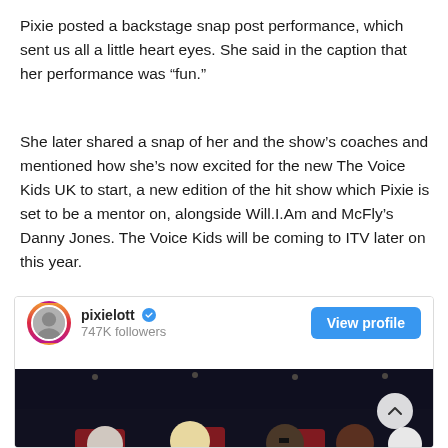Pixie posted a backstage snap post performance, which sent us all a little heart eyes. She said in the caption that her performance was “fun.”
She later shared a snap of her and the show’s coaches and mentioned how she’s now excited for the new The Voice Kids UK to start, a new edition of the hit show which Pixie is set to be a mentor on, alongside Will.I.Am and McFly’s Danny Jones. The Voice Kids will be coming to ITV later on this year.
[Figure (screenshot): Instagram profile card for pixielott with 747K followers, a verified badge, a View profile button, and a photo of TV show coaches/judges seated in a row on a dark stage.]